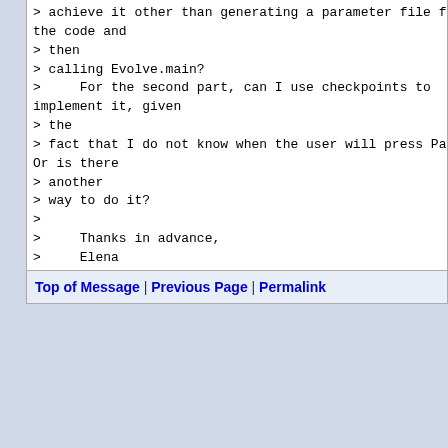> achieve it other than generating a parameter file fr the code and
> then
> calling Evolve.main?
>     For the second part, can I use checkpoints to implement it, given
> the
> fact that I do not know when the user will press Pau Or is there
> another
> way to do it?
>
>     Thanks in advance,
>     Elena
Top of Message | Previous Page | Permalink